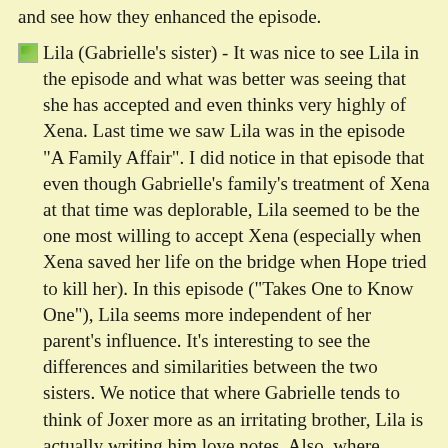and see how they enhanced the episode.
Lila (Gabrielle's sister) - It was nice to see Lila in the episode and what was better was seeing that she has accepted and even thinks very highly of Xena. Last time we saw Lila was in the episode "A Family Affair". I did notice in that episode that even though Gabrielle's family's treatment of Xena at that time was deplorable, Lila seemed to be the one most willing to accept Xena (especially when Xena saved her life on the bridge when Hope tried to kill her). In this episode ("Takes One to Know One"), Lila seems more independent of her parent's influence. It's interesting to see the differences and similarities between the two sisters. We notice that where Gabrielle tends to think of Joxer more as an irritating brother, Lila is actually writing him love notes. Also, where Gabrielle is a person of peace, with a very strong character (one strong trait being individuality), Lila on the other hand is